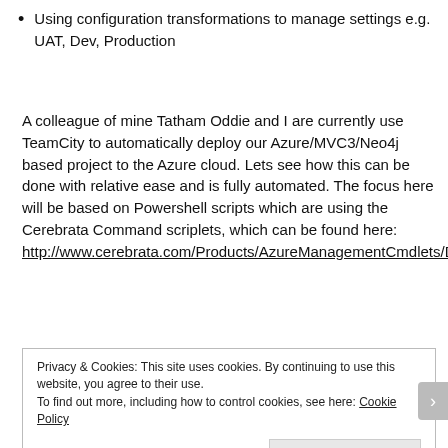Using configuration transformations to manage settings e.g. UAT, Dev, Production
A colleague of mine Tatham Oddie and I are currently use TeamCity to automatically deploy our Azure/MVC3/Neo4j based project to the Azure cloud. Lets see how this can be done with relative ease and is fully automated. The focus here will be based on Powershell scripts which are using the Cerebrata Command scriplets, which can be found here:
http://www.cerebrata.com/Products/AzureManagementCmdlets/Default.aspx
Privacy & Cookies: This site uses cookies. By continuing to use this website, you agree to their use.
To find out more, including how to control cookies, see here: Cookie Policy